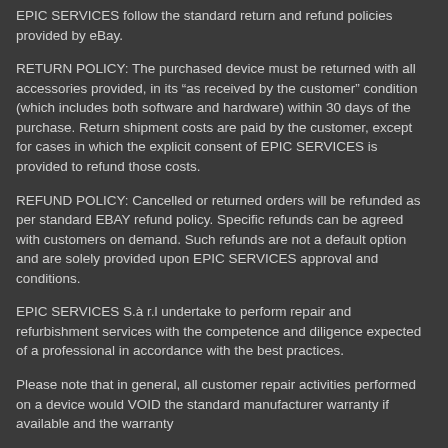EPIC SERVICES follow the standard return and refund policies provided by eBay.
RETURN POLICY: The purchased device must be returned with all accessories provided, in its “as received by the customer” condition (which includes both software and hardware) within 30 days of the purchase. Return shipment costs are paid by the customer, except for cases in which the explicit consent of EPIC SERVICES is provided to refund those costs.
REFUND POLICY: Cancelled or returned orders will be refunded as per standard EBAY refund policy. Specific refunds can be agreed with customers on demand. Such refunds are not a default option and are solely provided upon EPIC SERVICES approval and conditions.
EPIC SERVICES S.à r.l undertake to perform repair and refurbishment services with the competence and diligence expected of a professional in accordance with the best practices.
Please note that in general, all customer repair activities performed on a device would VOID the standard manufacturer warranty if available and the warranty